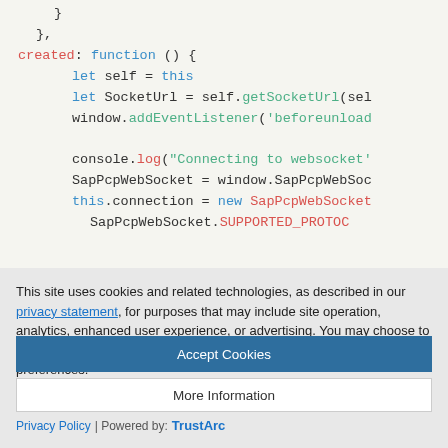[Figure (screenshot): Code editor showing JavaScript code with syntax highlighting. Visible lines include closing braces, 'created: function () {', variable assignments with 'let self = this', 'let SocketUrl = self.getSocketUrl(sel', 'window.addEventListener(beforeunload', 'console.log("Connecting to websocket")', 'SapPcpWebSocket = window.SapPcpWebSoc', 'this.connection = new SapPcpWebSocket', 'SapPcpWebSocket.SUPPORTED_PROTOC']
This site uses cookies and related technologies, as described in our privacy statement, for purposes that may include site operation, analytics, enhanced user experience, or advertising. You may choose to consent to our use of these technologies, or manage your own preferences.
Accept Cookies
More Information
Privacy Policy | Powered by: TrustArc